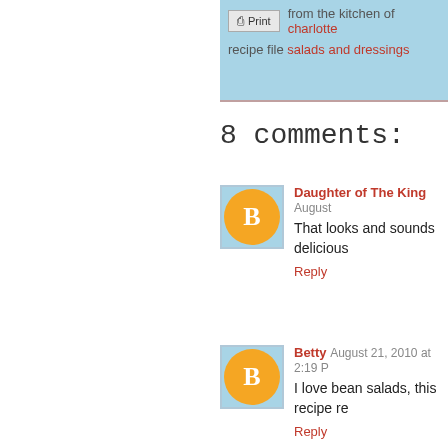from the kitchen of charlotte  |  recipe file salads and dressings
8 comments:
Daughter of The King  August ...  That looks and sounds delicious  Reply
Betty  August 21, 2010 at 2:19  I love bean salads, this recipe re  Reply
Anonymous  August 21, 2010 a  I just came to MGCC this week you post one - too funny! It is si